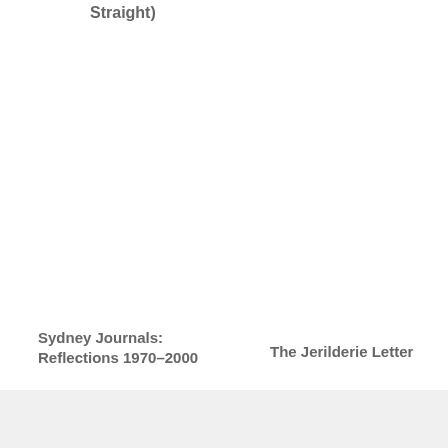Straight)
Sydney Journals:
Reflections 1970–2000
The Jerilderie Letter
Don Watson